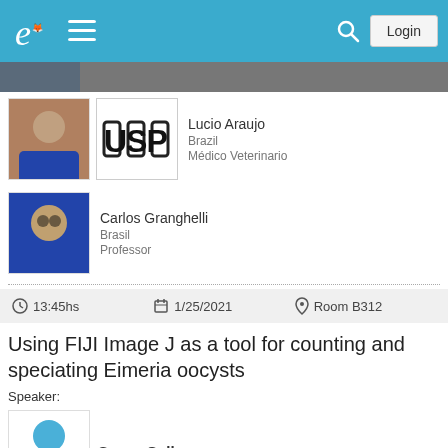Navigation bar with logo, menu, search, and Login button
[Figure (photo): Partial person photo strip at top of content area]
Lucio Araujo
Brazil
Médico Veterinario
Carlos Granghelli
Brasil
Professor
13:45hs   1/25/2021   Room B312
Using FIJI Image J as a tool for counting and speciating Eimeria oocysts
Speaker:
Sesny Gall
Rocio Crespo
United States